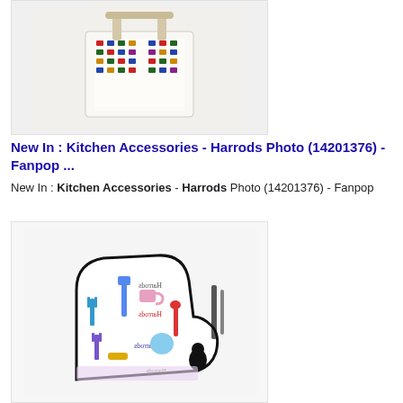[Figure (photo): A kitchen apron with colourful London-themed pattern (buses, guards, Big Ben, cars) on a cream background, displayed on a wooden hanger, set against a light grey background.]
New In : Kitchen Accessories - Harrods Photo (14201376) - Fanpop ...
New In : Kitchen Accessories - Harrods Photo (14201376) - Fanpop
[Figure (photo): A Harrods oven glove/mitt with colourful kitchen utensils pattern (forks, spoons, spatulas, cups, brush) on a white background with black trim, Harrods script logo repeated, shown at an angle.]